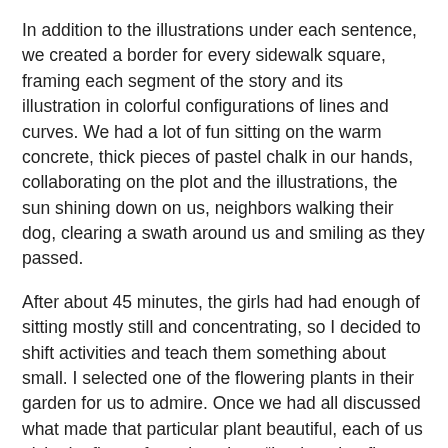In addition to the illustrations under each sentence, we created a border for every sidewalk square, framing each segment of the story and its illustration in colorful configurations of lines and curves. We had a lot of fun sitting on the warm concrete, thick pieces of pastel chalk in our hands, collaborating on the plot and the illustrations, the sun shining down on us, neighbors walking their dog, clearing a swath around us and smiling as they passed.
After about 45 minutes, the girls had had enough of sitting mostly still and concentrating, so I decided to shift activities and teach them something about small. I selected one of the flowering plants in their garden for us to admire. Once we had all discussed what made that particular plant beautiful, each of us picked a flower from that plant. “Look at that flower for a minute and notice one small detail you find lovely,” I told them.
“It looks like lace around the edges,” seven-year-old Poppy announced.
“I see a slightly darker blue line down the middle of each petal,” eight-and-a-half-year-old Amelia offered.